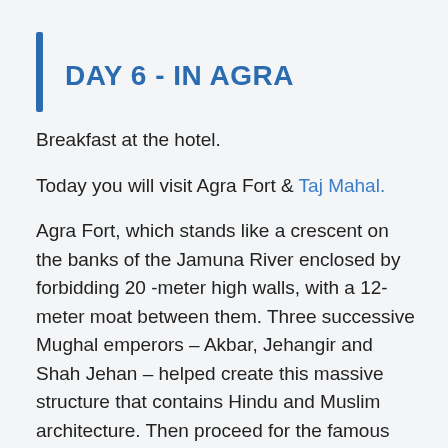DAY 6 - IN AGRA
Breakfast at the hotel.
Today you will visit Agra Fort & Taj Mahal.
Agra Fort, which stands like a crescent on the banks of the Jamuna River enclosed by forbidding 20 -meter high walls, with a 12-meter moat between them. Three successive Mughal emperors – Akbar, Jehangir and Shah Jehan – helped create this massive structure that contains Hindu and Muslim architecture. Then proceed for the famous white marble